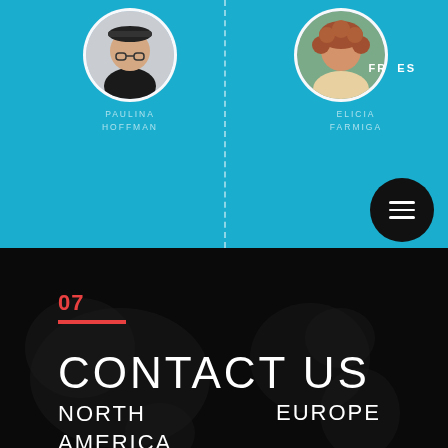[Figure (photo): Circular avatar photo of Paulina Hoffman, woman with dark hair and glasses wearing black top, on teal/blue background]
PAULINA
HOFFMAN
[Figure (photo): Circular avatar photo of Elicia Farmiga, woman with curly reddish-brown hair, on teal/blue background with FR ES language badges]
ELICIA
FARMIGA
FR  ES
07
CONTACT US
NORTH
AMERICA
EUROPE